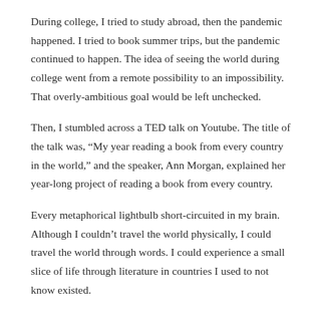During college, I tried to study abroad, then the pandemic happened. I tried to book summer trips, but the pandemic continued to happen. The idea of seeing the world during college went from a remote possibility to an impossibility. That overly-ambitious goal would be left unchecked.
Then, I stumbled across a TED talk on Youtube. The title of the talk was, “My year reading a book from every country in the world,” and the speaker, Ann Morgan, explained her year-long project of reading a book from every country.
Every metaphorical lightbulb short-circuited in my brain. Although I couldn’t travel the world physically, I could travel the world through words. I could experience a small slice of life through literature in countries I used to not know existed.